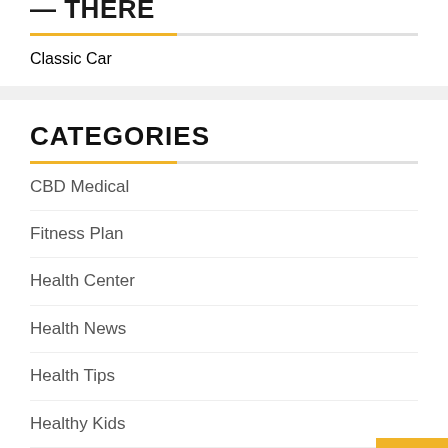Classic Car
CATEGORIES
CBD Medical
Fitness Plan
Health Center
Health News
Health Tips
Healthy Kids
Healthy Lifestyle